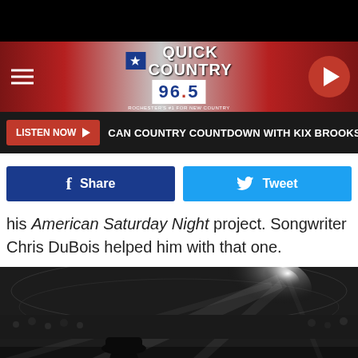[Figure (screenshot): Quick Country 96.5 radio station website header with logo, hamburger menu, and play button on dark red background]
LISTEN NOW ▶ CAN COUNTRY COUNTDOWN WITH KIX BROOKS
[Figure (screenshot): Facebook Share and Twitter Tweet social media buttons]
his American Saturday Night project. Songwriter Chris DuBois helped him with that one.
[Figure (photo): Black and white concert photo of a performer in a white cowboy hat on stage at a large arena with dramatic stage lighting]